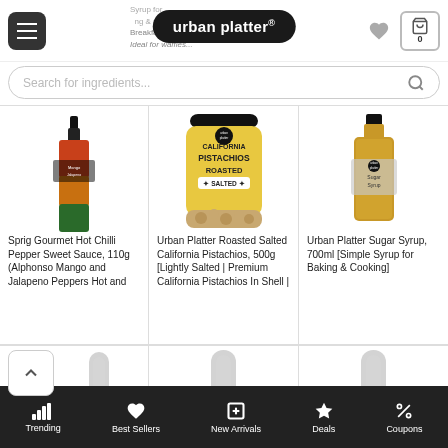urban platter®
Search for ingredients...
[Figure (photo): Sprig Gourmet Hot Chilli Pepper Sweet Sauce bottle, narrow dark bottle with orange-red and green label]
Sprig Gourmet Hot Chilli Pepper Sweet Sauce, 110g (Alphonso Mango and Jalapeno Peppers Hot and
[Figure (photo): Urban Platter Roasted Salted California Pistachios jar, yellow jar with black lid]
Urban Platter Roasted Salted California Pistachios, 500g [Lightly Salted | Premium California Pistachios In Shell |
[Figure (photo): Urban Platter Sugar Syrup 700ml bottle, clear amber liquid in bottle]
Urban Platter Sugar Syrup, 700ml [Simple Syrup for Baking & Cooking]
[Figure (photo): Partial product images in second row, glass bottles partially visible]
Trending | Best Sellers | New Arrivals | Deals | Coupons